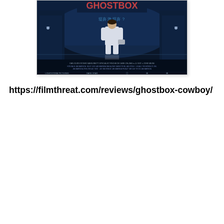[Figure (photo): Movie poster for Ghostbox Cowboy showing a figure in a white suit from behind, standing in a dark blue futuristic setting with Chinese text and production credits at the bottom. Lightstorm Pictures, Dark Star, and Warner Bros logos visible.]
https://filmthreat.com/reviews/ghostbox-cowboy/